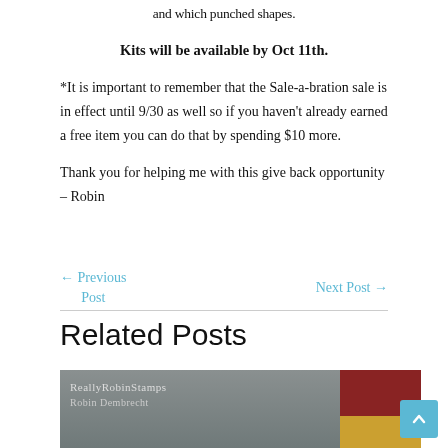and which punched shapes.
Kits will be available by Oct 11th.
*It is important to remember that the Sale-a-bration sale is in effect until 9/30 as well so if you haven't already earned a free item you can do that by spending $10 more.
Thank you for helping me with this give back opportunity – Robin
← Previous Post
Next Post →
Related Posts
[Figure (photo): A crafting/stamping image showing ReallyRobinStamps Robin Dembrecth watermark text on a decorative card background with dark red, gold and bokeh patterns]